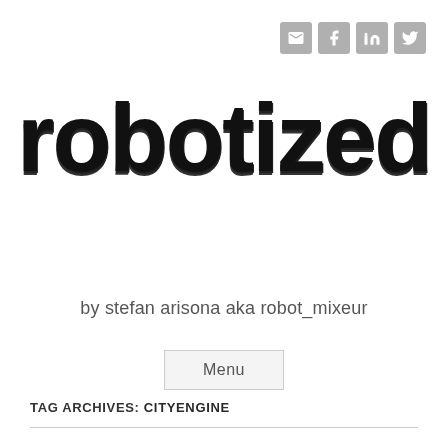[Figure (logo): Social media icons (email, facebook, linkedin, twitter) in gray rounded squares, top right]
robotized
by stefan arisona aka robot_mixeur
Menu
TAG ARCHIVES: CITYENGINE